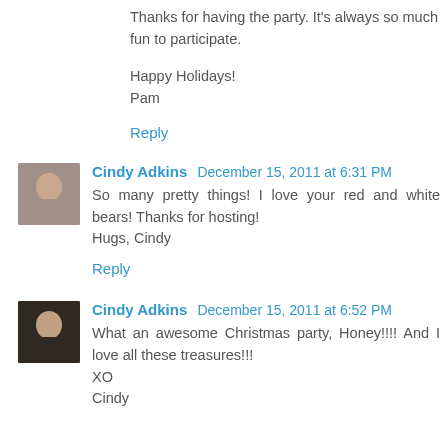Thanks for having the party. It's always so much fun to participate.

Happy Holidays!
Pam
Reply
Cindy Adkins  December 15, 2011 at 6:31 PM
So many pretty things! I love your red and white bears! Thanks for hosting!
Hugs, Cindy
Reply
Cindy Adkins  December 15, 2011 at 6:52 PM
What an awesome Christmas party, Honey!!!! And I love all these treasures!!!
XO
Cindy